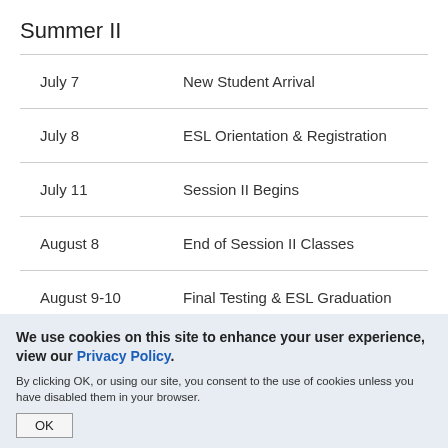Summer II
| Date | Event |
| --- | --- |
| July 7 | New Student Arrival |
| July 8 | ESL Orientation & Registration |
| July 11 | Session II Begins |
| August 8 | End of Session II Classes |
| August 9-10 | Final Testing & ESL Graduation |
We use cookies on this site to enhance your user experience, view our Privacy Policy. By clicking OK, or using our site, you consent to the use of cookies unless you have disabled them in your browser.